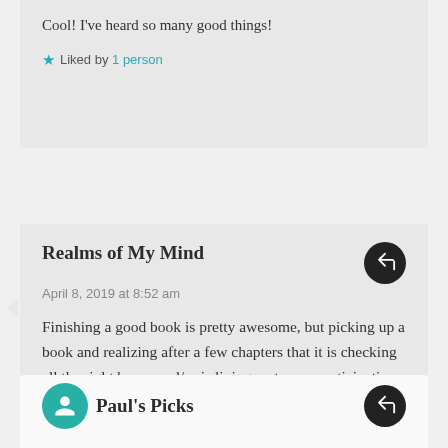Cool! I've heard so many good things!
Liked by 1 person
Realms of My Mind
April 8, 2019 at 8:52 am
Finishing a good book is pretty awesome, but picking up a book and realizing after a few chapters that it is checking all the right boxes and/or is living up to your anticipation after spending months or years on your TBR, and you've still got 80% of the book left? That's the real prize for me.
Liked by 1 person
Paul's Picks